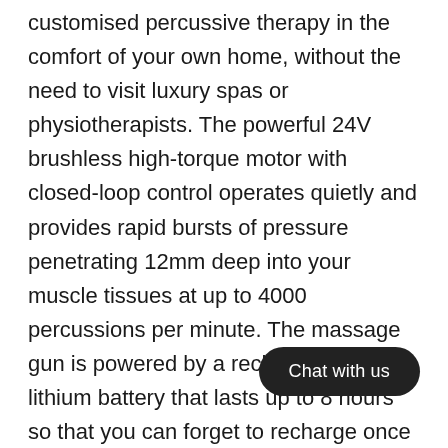customised percussive therapy in the comfort of your own home, without the need to visit luxury spas or physiotherapists. The powerful 24V brushless high-torque motor with closed-loop control operates quietly and provides rapid bursts of pressure penetrating 12mm deep into your muscle tissues at up to 4000 percussions per minute. The massage gun is powered by a rechargeable lithium battery that lasts up to 8 hours so that you can forget to recharge once in a while and the non-slip rubber handle provides a comfortable grip to reduce hand fatigue. Percussion speed can be easily adjusted using the intuitive LCD display with smart touch controls and there are 10 speed levels to suit various purposes from simply waking up your muscles to decreasing lactic acid and accelerating recovery after exercising, or even intense deep level massages. And with the six interchangeable head
[Figure (other): Dark rounded pill-shaped chat button overlay with text 'Chat with us']